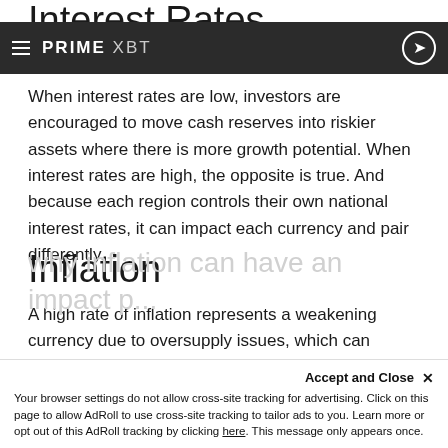Interest Rates
PRIME XBT
When interest rates are low, investors are encouraged to move cash reserves into riskier assets where there is more growth potential. When interest rates are high, the opposite is true. And because each region controls their own national interest rates, it can impact each currency and pair differently.
Inflation
A high rate of inflation represents a weakening currency due to oversupply issues, which can dramatically impact the price of a currency and the exchange rate between two currency pairs.
Your browser settings do not allow cross-site tracking for advertising. Click on this page to allow AdRoll to use cross-site tracking to tailor ads to you. Learn more or opt out of this AdRoll tracking by clicking here. This message only appears once.